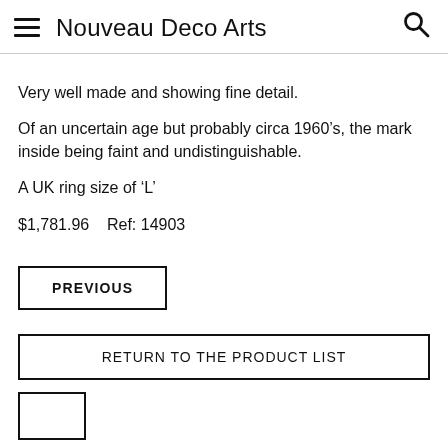Nouveau Deco Arts
Very well made and showing fine detail.
Of an uncertain age but probably circa 1960’s, the mark inside being faint and undistinguishable.
A UK ring size of ‘L’
$1,781.96    Ref: 14903
PREVIOUS
RETURN TO THE PRODUCT LIST